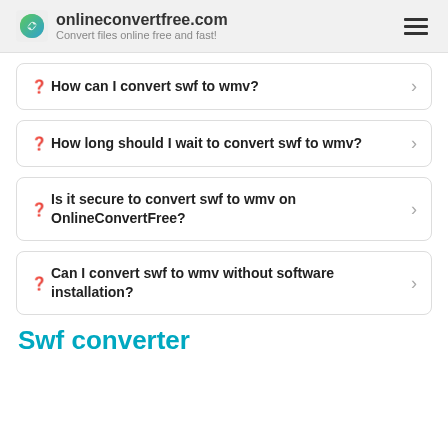onlineconvertfree.com — Convert files online free and fast!
❓ How can I convert swf to wmv?
❓ How long should I wait to convert swf to wmv?
❓ Is it secure to convert swf to wmv on OnlineConvertFree?
❓ Can I convert swf to wmv without software installation?
Swf converter